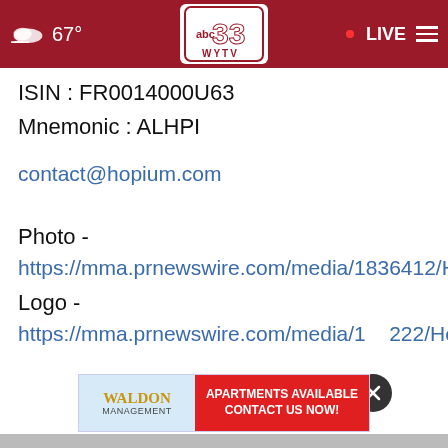[Figure (screenshot): ABC 33 WYTV navigation bar with weather (cloudy 67°), channel logo, LIVE indicator, and hamburger menu on dark red background]
ISIN : FR0014000U63
Mnemonic : ALHPI
contact@hopium.com
Photo -
https://mma.prnewswire.com/media/1836412/Hop
Logo -
https://mma.prnewswire.com/media/1___222/Hop
[Figure (screenshot): Close button (X) overlay circle in dark gray]
[Figure (screenshot): Waldon Management advertisement banner: apartments available contact us now]